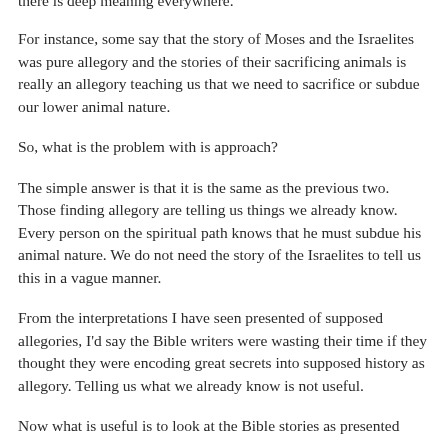there is deep meaning everywhere.
For instance, some say that the story of Moses and the Israelites was pure allegory and the stories of their sacrificing animals is really an allegory teaching us that we need to sacrifice or subdue our lower animal nature.
So, what is the problem with is approach?
The simple answer is that it is the same as the previous two. Those finding allegory are telling us things we already know. Every person on the spiritual path knows that he must subdue his animal nature. We do not need the story of the Israelites to tell us this in a vague manner.
From the interpretations I have seen presented of supposed allegories, I'd say the Bible writers were wasting their time if they thought they were encoding great secrets into supposed history as allegory. Telling us what we already know is not useful.
Now what is useful is to look at the Bible stories as presented